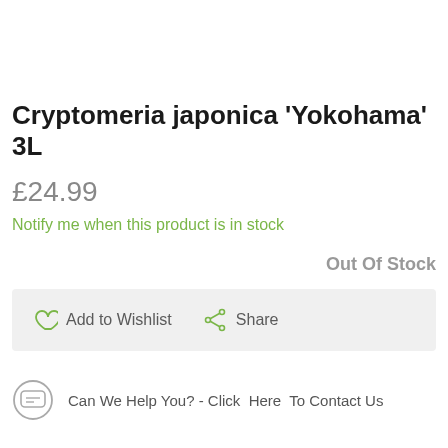Cryptomeria japonica 'Yokohama' 3L
£24.99
Notify me when this product is in stock
Out Of Stock
Add to Wishlist   Share
Can We Help You? - Click  Here  To Contact Us